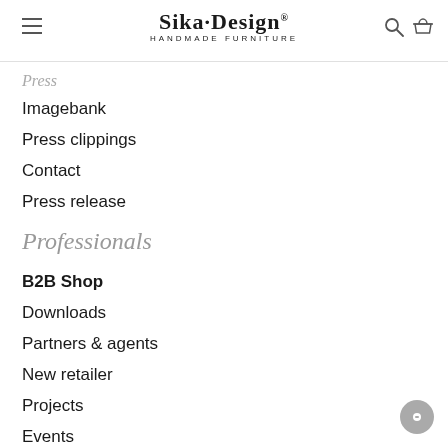Sika·Design® HANDMADE FURNITURE
Press
Imagebank
Press clippings
Contact
Press release
Professionals
B2B Shop
Downloads
Partners & agents
New retailer
Projects
Events
Catalogues
Press